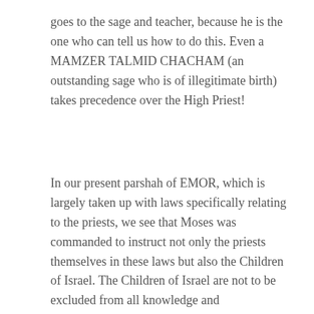goes to the sage and teacher, because he is the one who can tell us how to do this. Even a MAMZER TALMID CHACHAM (an outstanding sage who is of illegitimate birth) takes precedence over the High Priest!
In our present parshah of EMOR, which is largely taken up with laws specifically relating to the priests, we see that Moses was commanded to instruct not only the priests themselves in these laws but also the Children of Israel. The Children of Israel are not to be excluded from all knowledge and understanding of the priesthood. On the contrary, they too are to study the laws relating to the priests. This is because the Israelites, as a kingdom of priests, have to have a model to learn from. The Cohanim are a kingdom within a